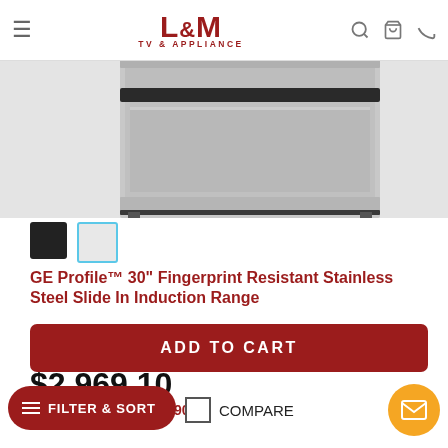L&M TV & APPLIANCE
[Figure (photo): GE Profile stainless steel slide-in induction range, partial view showing lower front panel and drawer]
[Figure (other): Two color swatches: black and silver/stainless (currently selected with blue border)]
GE Profile™ 30" Fingerprint Resistant Stainless Steel Slide In Induction Range
Model #: PHS930YPFS
4.6 ★★★★★ (1,519)
$2,969.10
$3,299.00  Save $329.90
ADD TO CART
FILTER & SORT
COMPARE